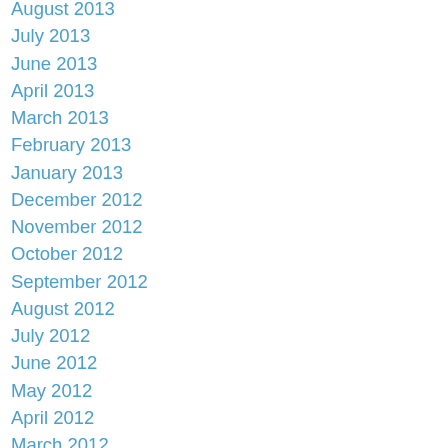August 2013
July 2013
June 2013
April 2013
March 2013
February 2013
January 2013
December 2012
November 2012
October 2012
September 2012
August 2012
July 2012
June 2012
May 2012
April 2012
March 2012
February 2012
July 2011
June 2011
May 2011